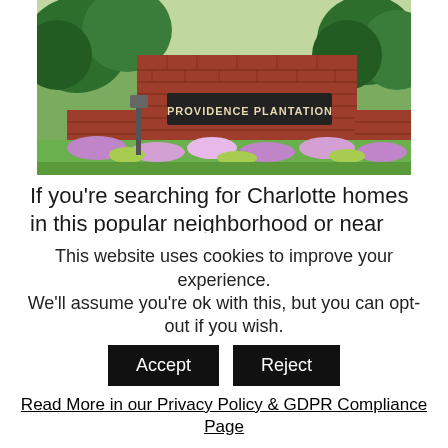[Figure (photo): Outdoor photo of the Providence Plantation neighborhood entrance sign — a large red brick wall sign reading 'PROVIDENCE PLANTATION' surrounded by colorful flower beds and green trees.]
If you're searching for Charlotte homes in this popular neighborhood or near Providence Plantation, then we invite you to view the listings in this or any of the Charlotte subdivisions on our site.  And if you're searching for condos or townhomes for sale in the Charlotte area, feel free to
This website uses cookies to improve your experience. We'll assume you're ok with this, but you can opt-out if you wish. [Accept] [Reject]
Read More in our Privacy Policy & GDPR Compliance Page